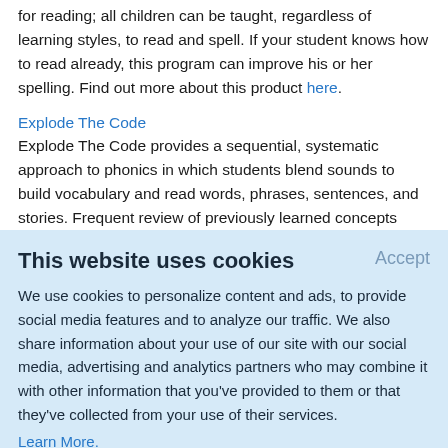for reading; all children can be taught, regardless of learning styles, to read and spell. If your student knows how to read already, this program can improve his or her spelling. Find out more about this product here.
Explode The Code
Explode The Code provides a sequential, systematic approach to phonics in which students blend sounds to build vocabulary and read words, phrases, sentences, and stories. Frequent review of previously learned concepts helps increase retention. Each workbook in this series contains
This website uses cookies
We use cookies to personalize content and ads, to provide social media features and to analyze our traffic. We also share information about your use of our site with our social media, advertising and analytics partners who may combine it with other information that you've provided to them or that they've collected from your use of their services.
Learn More.
Speller) that has been updated to teach phonics/beginning